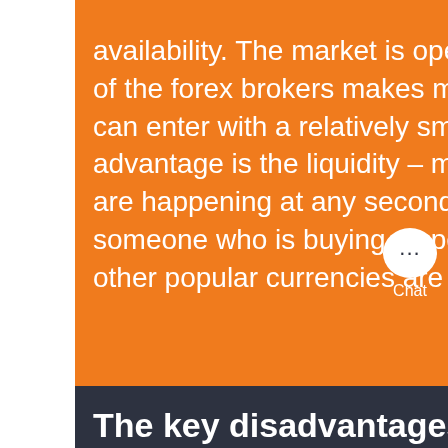availability. The market is open all day, and because the bigger part of the forex brokers makes money from the currency spreads, one can enter with a relatively small amount of money. The second advantage is the liquidity – mainly for the major pairs. Transactions are happening at any second, so there is no need to search for someone who is buying a specific ETF. The USD, the Euro, and the other popular currencies are in a constant flow worldwide.
[Figure (other): Chat bubble icon with three dots and 'Chat' label below, white on orange background]
The key disadvantages
[Figure (other): Orange square button with upward chevron arrow]
The forex market is hard to predict because many factors and events, policies, and affairs can set the trend or